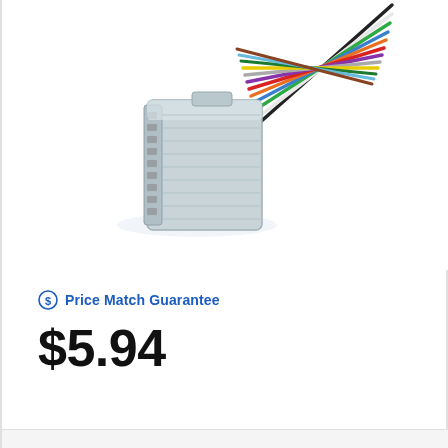[Figure (photo): A white multi-pin automotive wire harness connector with multiple colored wires (black, white, green, blue, orange, red, purple, grey, yellow, etc.) fanning out from the back of a white plastic connector housing, photographed on a white background.]
Price Match Guarantee
$5.94